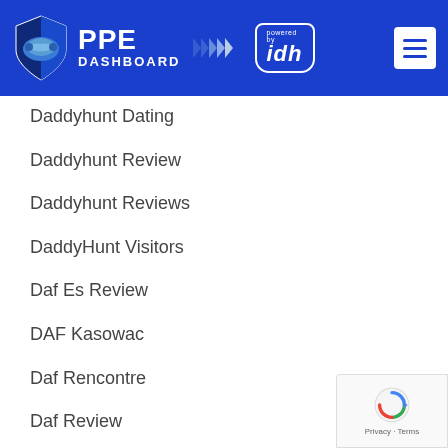PPE DASHBOARD powered by idh
Daddyhunt Dating
Daddyhunt Review
Daddyhunt Reviews
DaddyHunt Visitors
Daf Es Review
DAF Kasowac
Daf Rencontre
Daf Review